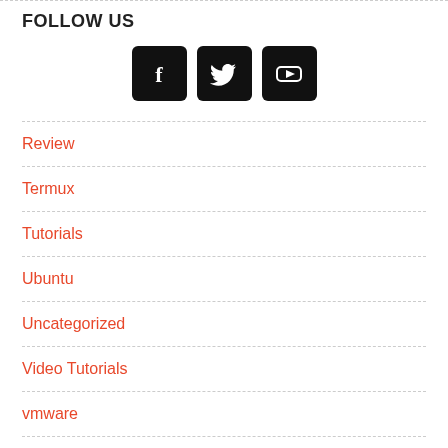FOLLOW US
[Figure (illustration): Three social media icons side by side: Facebook (f), Twitter (bird), YouTube (play button) — white icons on black rounded-square backgrounds]
Review
Termux
Tutorials
Ubuntu
Uncategorized
Video Tutorials
vmware
WiFi Adapter